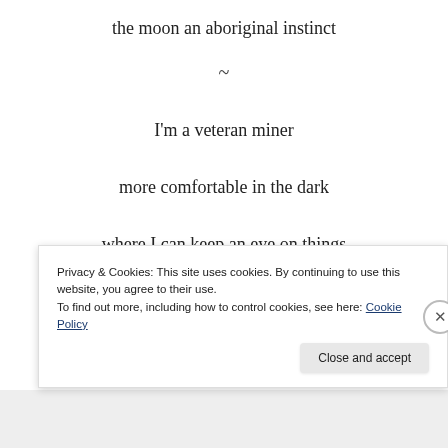the moon an aboriginal instinct
~
I'm a veteran miner
more comfortable in the dark
where I can keep an eye on things
~
On the surface my tough rosettes
Privacy & Cookies: This site uses cookies. By continuing to use this website, you agree to their use.
To find out more, including how to control cookies, see here: Cookie Policy
Close and accept